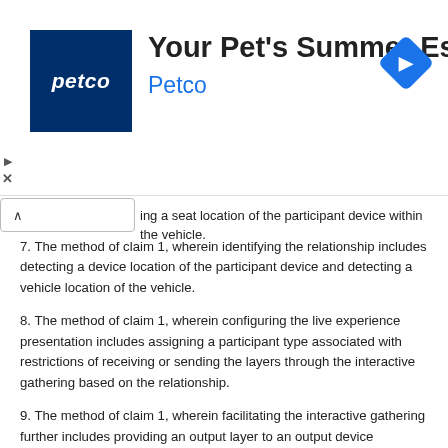[Figure (other): Petco advertisement banner with logo, title 'Your Pet's Summer Essentials', 'Petco' subtitle, navigation diamond icon, and close/play icons]
ing a seat location of the participant device within the vehicle.
7. The method of claim 1, wherein identifying the relationship includes detecting a device location of the participant device and detecting a vehicle location of the vehicle.
8. The method of claim 1, wherein configuring the live experience presentation includes assigning a participant type associated with restrictions of receiving or sending the layers through the interactive gathering based on the relationship.
9. The method of claim 1, wherein facilitating the interactive gathering further includes providing an output layer to an output device integrated within the vehicle, the output layer different from the layers provided for the participant device.
10. The method of claim 1, wherein the interactive gathering includes participants from within the vehicle and external to the vehicle.